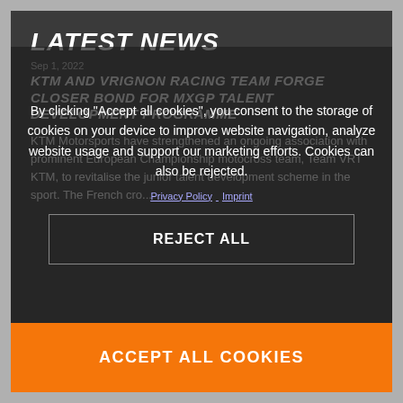LATEST NEWS
Sep 1, 2022
KTM AND VRIGNON RACING TEAM FORGE CLOSER BOND FOR MXGP TALENT DEVELOPMENT PROGRAMME
KTM Motorsports have strengthened an ongoing association with prominent European Championship motocross team, Team VRT KTM, to revitalise the junior talent development scheme in the sport. The French cro...
By clicking "Accept all cookies", you consent to the storage of cookies on your device to improve website navigation, analyze website usage and support our marketing efforts. Cookies can also be rejected.
Privacy Policy  Imprint
REJECT ALL
ACCEPT ALL COOKIES